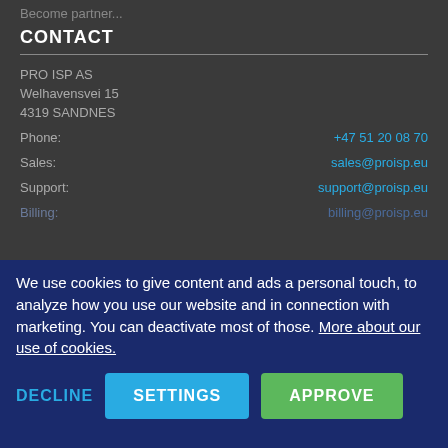Become partner
CONTACT
PRO ISP AS
Welhavensvei 15
4319 SANDNES
Phone: +47 51 20 08 70
Sales: sales@proisp.eu
Support: support@proisp.eu
Billing: billing@proisp.eu
We use cookies to give content and ads a personal touch, to analyze how you use our website and in connection with marketing. You can deactivate most of those. More about our use of cookies.
DECLINE
SETTINGS
APPROVE